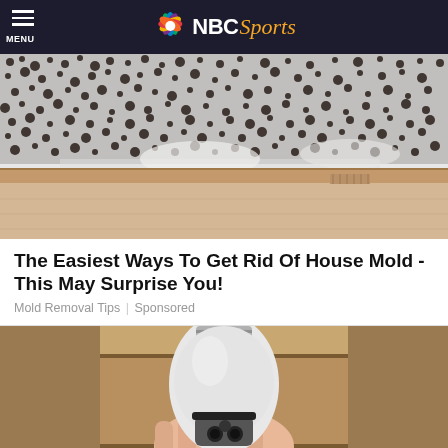NBC Sports
[Figure (photo): Photo of black mold growing on a white wall in the corner near a wooden baseboard and light wood floor]
The Easiest Ways To Get Rid Of House Mold - This May Surprise You!
Mold Removal Tips | Sponsored
[Figure (photo): A hand holding a white smart security camera shaped like a light bulb with a camera lens at the bottom, against a blurred indoor background]